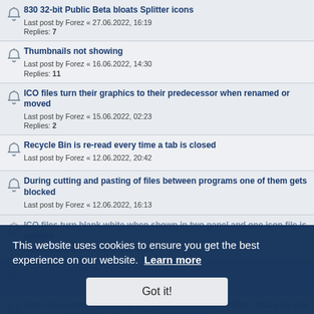830 32-bit Public Beta bloats Splitter icons
Last post by Forez « 27.06.2022, 16:19
Replies: 7
Thumbnails not showing
Last post by Forez « 16.06.2022, 14:30
Replies: 11
ICO files turn their graphics to their predecessor when renamed or moved
Last post by Forez « 15.06.2022, 02:23
Replies: 2
Recycle Bin is re-read every time a tab is closed
Last post by Forez « 12.06.2022, 20:42
During cutting and pasting of files between programs one of them gets blocked
Last post by Forez « 12.06.2022, 16:13
ICO files turn blank white when shown in two panel and one icon file is deleted
Last post by Forez « 12.06.2022, 15:59
Last post by ... « 11.06.2022, ...
Error when double clicking, in encrypted 72 and rar files, "that you also have the HEADERS of file names ENCRYPTED"
Last post by bmik « 01.06.2022, 00:58
The program does not respond again and again
Last post by sansim2910 « 27.05.2022, 16:37
Replies: 1
It does not allow to copy folders whose total length is greater...
This website uses cookies to ensure you get the best experience on our website. Learn more
Got it!